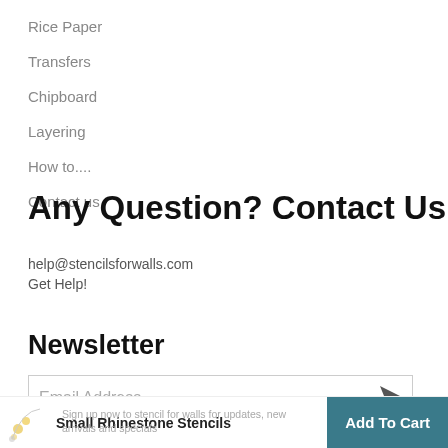Rice Paper
Transfers
Chipboard
Layering
How to....
Contact us
Any Question? Contact Us
help@stencilsforwalls.com
Get Help!
Newsletter
Email Address
Small Rhinestone Stencils
Sign up now to stencil for walls for updates, new arrivals and specials